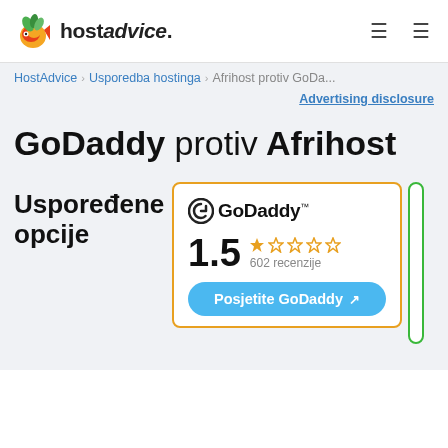hostadvice.
HostAdvice › Usporedba hostinga › Afrihost protiv GoDa...
Advertising disclosure
GoDaddy protiv Afrihost
Uspoređene opcije
[Figure (logo): GoDaddy logo with rating 1.5 out of 5 stars, 602 recenzije, and a button 'Posjetite GoDaddy']